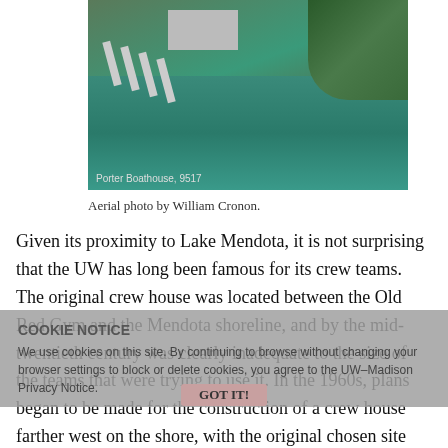[Figure (photo): Aerial photograph of Porter Boathouse area near Lake Mendota, showing docks extending into the water, buildings, and trees. Labeled 'Porter Boathouse, 9517'.]
Aerial photo by William Cronon.
Given its proximity to Lake Mendota, it is not surprising that the UW has long been famous for its crew teams. The original crew house was located between the Old Red Gym and the Mendota shoreline, and by the mid-twentieth century was clearly inadequate to the size of the teams that were trying to use it. In the 1960s, plans began to be made for the construction of a crew house farther west on the shore, with the original chosen site being proposed at Willow Beach.
COOKIE NOTICE
We use cookies on this site. By continuing to browse without changing your browser settings to block or delete cookies, you agree to the UW–Madison Privacy Notice.
GOT IT!